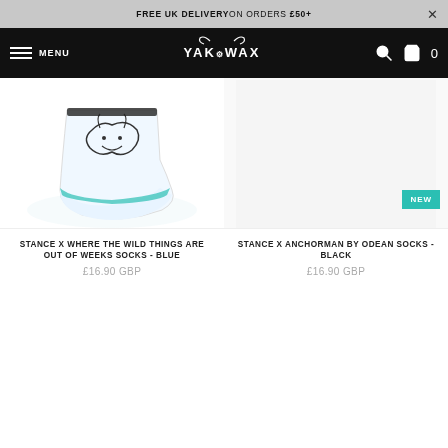FREE UK DELIVERY ON ORDERS £50+
YAK WAX — MENU — Search — Cart 0
[Figure (photo): Pair of light blue socks with black and white design, displayed flat against white background]
STANCE X WHERE THE WILD THINGS ARE OUT OF WEEKS SOCKS - BLUE
£16.90 GBP
[Figure (other): Empty product image area for Stance X Anchorman by Odean Socks - Black with NEW badge]
STANCE X ANCHORMAN BY ODEAN SOCKS - BLACK
£16.90 GBP